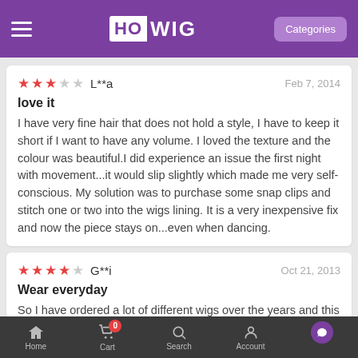HOWIG — Categories
★★★☆☆ L**a — Feb 7, 2014
love it
I have very fine hair that does not hold a style, I have to keep it short if I want to have any volume. I loved the texture and the colour was beautiful.I did experience an issue the first night with movement...it would slip slightly which made me very self-conscious. My solution was to purchase some snap clips and stitch one or two into the wigs lining. It is a very inexpensive fix and now the piece stays on...even when dancing.
★★★★☆ G**i — Oct 21, 2013
Wear everyday
So I have ordered a lot of different wigs over the years and this one here is my all time favorite. The colour for
Home  Cart 0  Search  Account